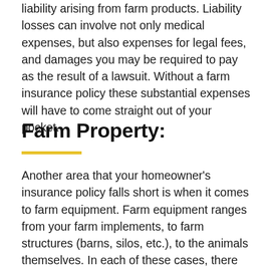liability arising from farm products. Liability losses can involve not only medical expenses, but also expenses for legal fees, and damages you may be required to pay as the result of a lawsuit. Without a farm insurance policy these substantial expenses will have to come straight out of your pocket.
Farm Property:
Another area that your homeowner's insurance policy falls short is when it comes to farm equipment. Farm equipment ranges from your farm implements, to farm structures (barns, silos, etc.), to the animals themselves. In each of these cases, there will be no coverage for damage or loss afforded on your homeowner's insurance policy, leaving you completely on the hook to